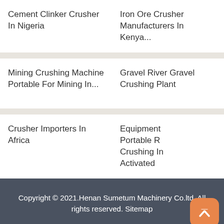Cement Clinker Crusher In Nigeria
Iron Ore Crusher Manufacturers In Kenya...
Mining Crushing Machine Portable For Mining In...
Gravel River Gravel Crushing Plant
Crusher Importers In Africa
Equipment Portable Rock Crushing In Activated...
Copyright © 2021.Henan Sumetum Machinery Co.ltd. All rights reserved. Sitemap
Send Message
Free Consultation